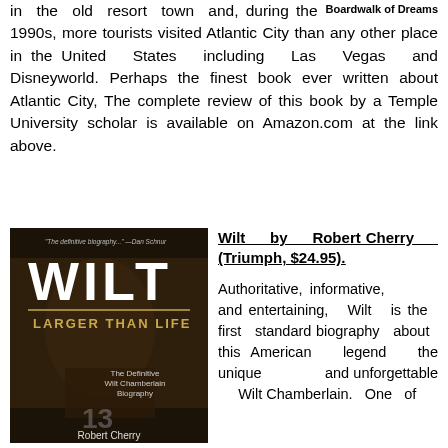in the old resort town and, during the 1990s, more tourists visited Atlantic City than any other place in the United States including Las Vegas and Disneyworld. Perhaps the finest book ever written about Atlantic City, The complete review of this book by a Temple University scholar is available on Amazon.com at the link above.
Boardwalk of Dreams
[Figure (photo): Book cover of 'Wilt: Larger Than Life' by Robert Cherry — dark brown/sepia cover with large white text WILT, subtitle LARGER THAN LIFE in gold, and a photo of Wilt Chamberlain in a Lakers jersey.]
Wilt by Robert Cherry (Triumph, $24.95).
Authoritative, informative, and entertaining, Wilt is the first standard biography about this American legend the unique and unforgettable Wilt Chamberlain. One of